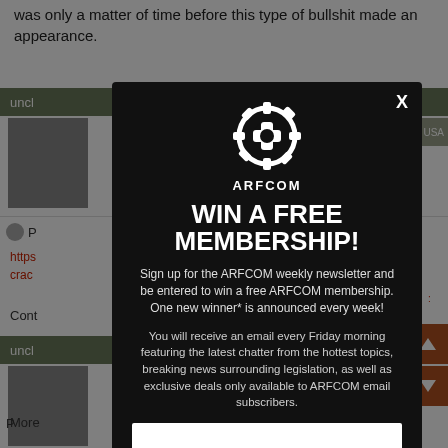was only a matter of time before this type of bullshit made an appearance.
[Figure (screenshot): ARFCOM forum page background with user posts, thumbnails, and navigation bars, partially obscured by a modal overlay]
[Figure (infographic): ARFCOM modal popup: WIN A FREE MEMBERSHIP! Sign up for the ARFCOM weekly newsletter and be entered to win a free ARFCOM membership. One new winner* is announced every week! You will receive an email every Friday morning featuring the latest chatter from the hottest topics, breaking news surrounding legislation, as well as exclusive deals only available to ARFCOM email subscribers.]